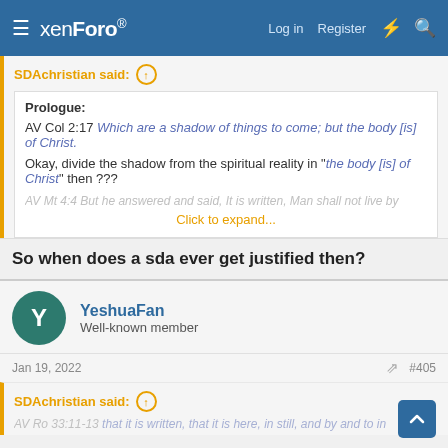xenForo — Log in | Register
SDAchristian said: ↑
Prologue:
AV Col 2:17 Which are a shadow of things to come; but the body [is] of Christ.

Okay, divide the shadow from the spiritual reality in "the body [is] of Christ" then ???

AV Mt 4:4 But he answered and said, It is written, Man shall not live by
Click to expand...
So when does a sda ever get justified then?
YeshuaFan
Well-known member
Jan 19, 2022  #405
SDAchristian said: ↑
AV Ro 33:11-13 ...